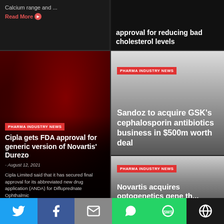Calcium range and ... Read More
approval for reducing bad cholesterol levels
[Figure (photo): Dark red pharmaceutical capsules/pills close-up]
PHARMA INDUSTRY NEWS
Cipla gets FDA approval for generic version of Novartis' Durezo
- August 12, 2021
Cipla Limited said that it has secured final approval for its abbreviated new drug application (ANDA) for Difluprednate Ophthalmic
PHARMA INDUSTRY NEWS
Sandoz to acquire GSK's cephalosporin antibiotics business in $500m worth deal
PHARMA INDUSTRY NEWS
Novartis acquires optogenetics gene th...